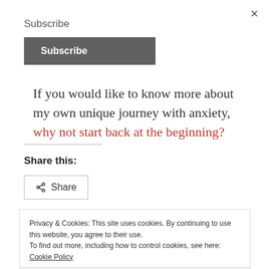×
Subscribe
Subscribe
If you would like to know more about my own unique journey with anxiety, why not start back at the beginning?
Share this:
Share
Privacy & Cookies: This site uses cookies. By continuing to use this website, you agree to their use. To find out more, including how to control cookies, see here: Cookie Policy
Close and accept